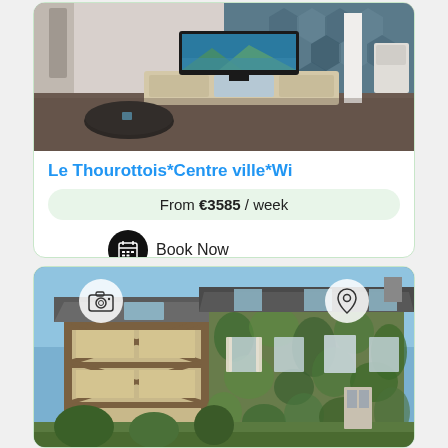[Figure (photo): Interior room photo showing a living room with TV on a media console, hexagonal patterned wallpaper in blue/grey, dark floor, and a small coffee table]
Le Thourottois*Centre ville*Wi
From €3585 / week
Book Now
[Figure (photo): Exterior photo of a French country house covered in ivy with timber-frame architecture, camera icon and map pin icon overlaid on top corners]